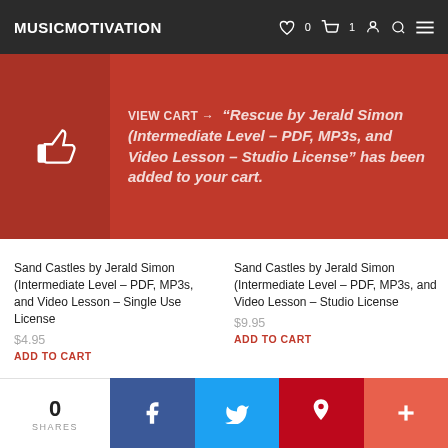MUSICMOTIVATION  ♡0  🛒1
VIEW CART → "Rescue by Jerald Simon (Intermediate Level – PDF, MP3s, and Video Lesson – Studio License" has been added to your cart.
Sand Castles by Jerald Simon (Intermediate Level – PDF, MP3s, and Video Lesson – Single Use License
$4.95
ADD TO CART
Sand Castles by Jerald Simon (Intermediate Level – PDF, MP3s, and Video Lesson – Studio License
$9.95
ADD TO CART
[Figure (screenshot): Thumbnail of Scaler Skillz sheet music product with photo of Jerald Simon]
[Figure (screenshot): Thumbnail of Scaler Skillz sheet music product with photo of Jerald Simon]
0 SHARES  Facebook  Twitter  Pinterest  +